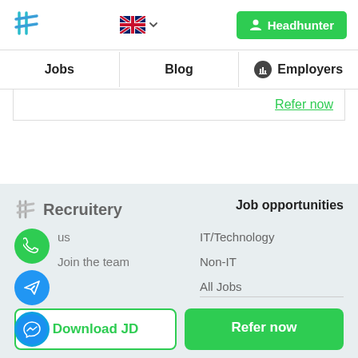[Figure (logo): Recruitery logo icon - stylized hash/grid symbol in teal/blue colors]
[Figure (logo): UK flag (Union Jack) with dropdown arrow for language selection]
Headhunter
Jobs
Blog
Employers
Refer now
[Figure (logo): Recruitery footer logo with hash icon and text 'Recruitery']
Job opportunities
us
Join the team
IT/Technology
Non-IT
All Jobs
Download JD
Refer now